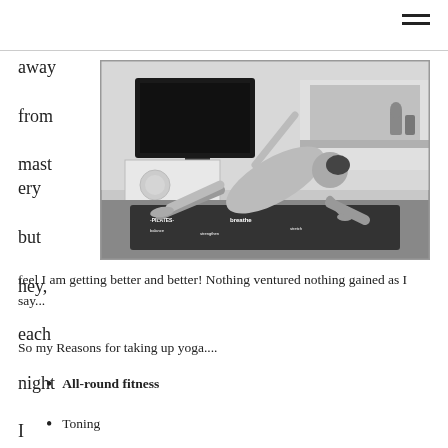away from mastery but hey, each night I actually
[Figure (photo): Black and white photo of a person doing a yoga side plank pose on a yoga mat in a living room setting with a TV and fireplace in the background.]
feel I am getting better and better! Nothing ventured nothing gained as I say...
So my Reasons for taking up yoga....
All-round fitness
Toning